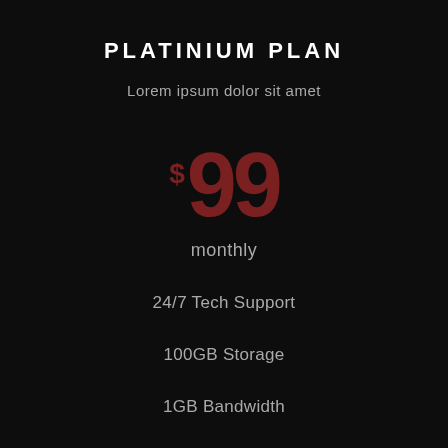PLATINIUM PLAN
Lorem ipsum dolor sit amet
$99
monthly
24/7 Tech Support
100GB Storage
1GB Bandwidth